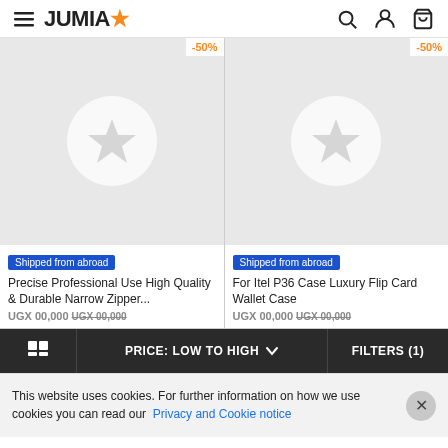JUMIA
[Figure (screenshot): Two product cards with placeholder images (star in circle), -50% discount badges, 'Shipped from abroad' labels, product titles and prices]
Precise Professional Use High Quality & Durable Narrow Zipper...
For Itel P36 Case Luxury Flip Card Wallet Case
PRICE: LOW TO HIGH
FILTERS (1)
This website uses cookies. For further information on how we use cookies you can read our Privacy and Cookie notice